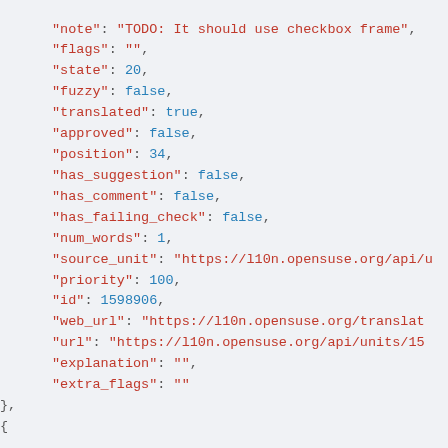JSON code snippet showing fields: note, flags, state, fuzzy, translated, approved, position, has_suggestion, has_comment, has_failing_check, num_words, source_unit, priority, id, web_url, url, explanation, extra_flags, followed by a new object with translation, source, previous_source, target fields